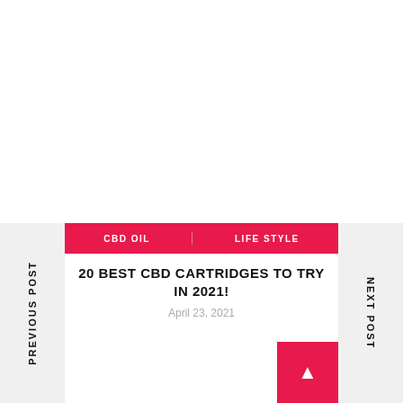PREVIOUS POST
NEXT POST
CBD OIL   LIFE STYLE
20 BEST CBD CARTRIDGES TO TRY IN 2021!
April 23, 2021